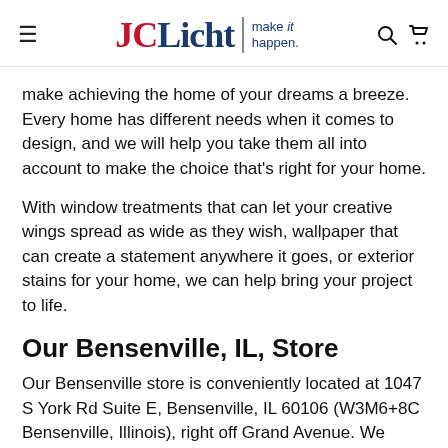JCLicht | make it happen.
make achieving the home of your dreams a breeze. Every home has different needs when it comes to design, and we will help you take them all into account to make the choice that’s right for your home.
With window treatments that can let your creative wings spread as wide as they wish, wallpaper that can create a statement anywhere it goes, or exterior stains for your home, we can help bring your project to life.
Our Bensenville, IL, Store
Our Bensenville store is conveniently located at 1047 S York Rd Suite E, Bensenville, IL 60106 (W3M6+8C Bensenville, Illinois), right off Grand Avenue. We have